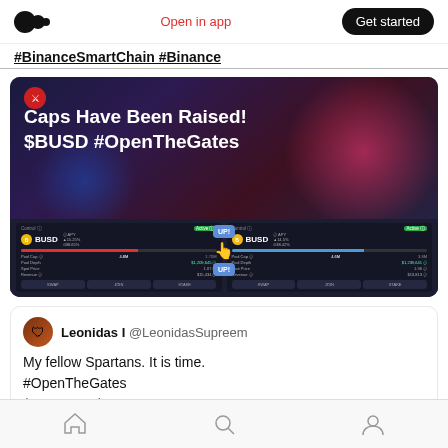Medium logo | Open in app | Get started
#BinanceSmartChain #Binance
[Figure (screenshot): App screenshot showing Sparta protocol pools with 'Caps Have Been Raised! $BUSD #OpenTheGates' text and BUSD pool UI panels with UP! buttons]
Leonidas I @LeonidasSupreem
My fellow Spartans. It is time.
#OpenTheGates
$SPARTA : $BUSD
Home | Search | Profile navigation icons